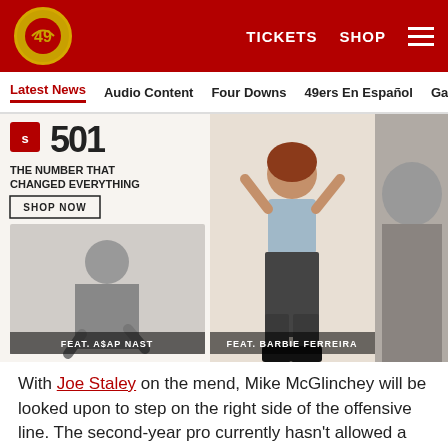San Francisco 49ers navigation bar with logo, TICKETS, SHOP, and hamburger menu
Latest News | Audio Content | Four Downs | 49ers En Español | Ga...
[Figure (photo): Levi's 501 advertisement: 'THE NUMBER THAT CHANGED EVERYTHING' with SHOP NOW button. Features models FEAT. A$AP NAST and FEAT. BARBIE FERREIRA]
With Joe Staley on the mend, Mike McGlinchey will be looked upon to step on the right side of the offensive line. The second-year pro currently hasn't allowed a
Social sharing icons: Facebook, Twitter, Email, Link